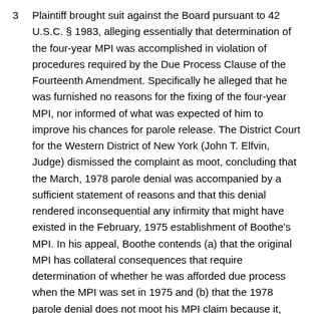3  Plaintiff brought suit against the Board pursuant to 42 U.S.C. § 1983, alleging essentially that determination of the four-year MPI was accomplished in violation of procedures required by the Due Process Clause of the Fourteenth Amendment. Specifically he alleged that he was furnished no reasons for the fixing of the four-year MPI, nor informed of what was expected of him to improve his chances for parole release. The District Court for the Western District of New York (John T. Elfvin, Judge) dismissed the complaint as moot, concluding that the March, 1978 parole denial was accompanied by a sufficient statement of reasons and that this denial rendered inconsequential any infirmity that might have existed in the February, 1975 establishment of Boothe's MPI. In his appeal, Boothe contends (a) that the original MPI has collateral consequences that require determination of whether he was afforded due process when the MPI was set in 1975 and (b) that the 1978 parole denial does not moot his MPI claim because it, too, failed to comply with due process requirements.
4  Prior to Greenholtz, this Court had held that a state prisoner's interest in securing release on parole was sufficient to require some due process safeguards, United States ex rel. Johnson v. Chairman of New York State Board of Parole, 500 F.2d 925 (2d Cir.), Vacated as moot sub nom. Regan v. Johnson, 419 U.S. 1015, 95